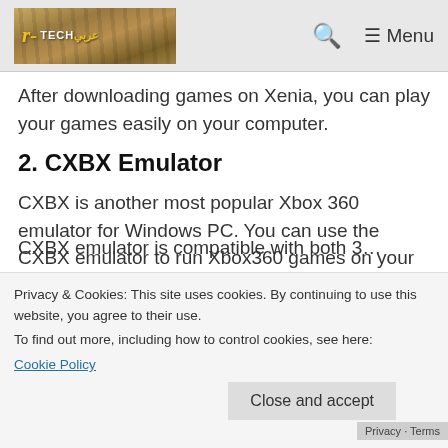TechGuru logo, search icon, Menu
After downloading games on Xenia, you can play your games easily on your computer.
2. CXBX Emulator
CXBX is another most popular Xbox 360 emulator for Windows PC. You can use the CXBX emulator to run Xbox360 games on your computer.
Privacy & Cookies: This site uses cookies. By continuing to use this website, you agree to their use.
To find out more, including how to control cookies, see here:
Cookie Policy
Close and accept
CXBX emulator is compatible with both 3 bit Windows and 64 bit Windows